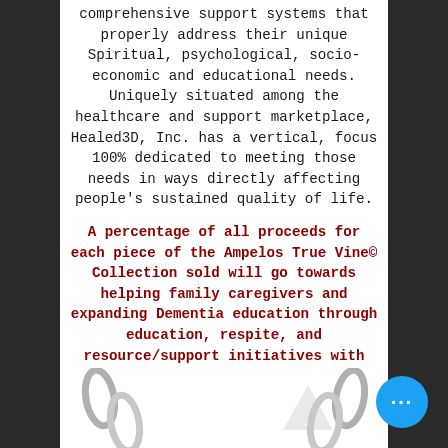comprehensive support systems that properly address their unique Spiritual, psychological, socio-economic and educational needs. Uniquely situated among the healthcare and support marketplace, Healed3D, Inc. has a vertical, focus 100% dedicated to meeting those needs in ways directly affecting people's sustained quality of life.
A percentage of all proceeds for each piece of the Ampelos True Vine© Collection sold will go towards helping family caregivers and expanding Dementia education through education, respite, and resource/support initiatives with HC3D, Inc.
*Purchases also available at Aucoin Hart stores in New Orleans
[Figure (photo): Two chain/jewelry pieces at bottom of page, one on left and one on right, with a watermark/logo in the center-right area]